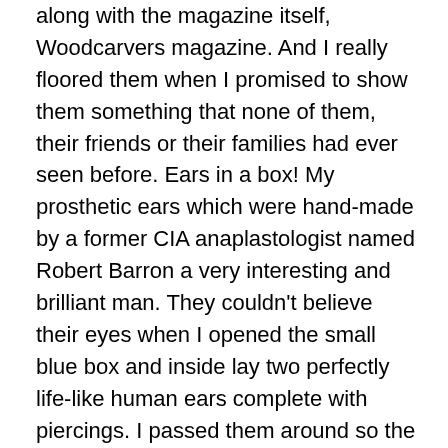along with the magazine itself, Woodcarvers magazine. And I really floored them when I promised to show them something that none of them, their friends or their families had ever seen before. Ears in a box! My prosthetic ears which were hand-made by a former CIA anaplastologist named Robert Barron a very interesting and brilliant man. They couldn't believe their eyes when I opened the small blue box and inside lay two perfectly life-like human ears complete with piercings. I passed them around so the kids could see them close up. I talked openly for quite a while and they sat and listened attentively to my description of what happened to me and how I recovered and what it was like at first and how it is today.
And then they asked questions. Some of them were eager to ask questions and I told them that they